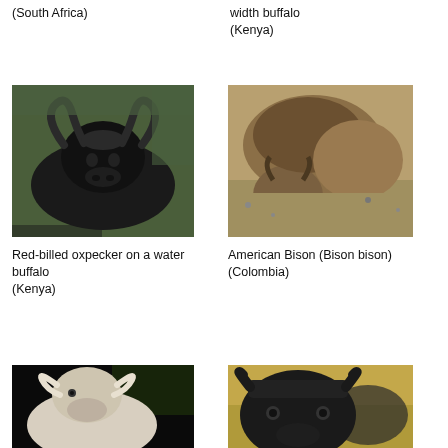(South Africa)
width buffalo
(Kenya)
[Figure (photo): Red-billed oxpecker on a water buffalo, Kenya]
Red-billed oxpecker on a water buffalo
(Kenya)
[Figure (photo): American Bison (Bison bison), Colombia]
American Bison (Bison bison)
(Colombia)
[Figure (photo): White/pale bovine animal, partial view]
[Figure (photo): African buffalo close-up, partial view]